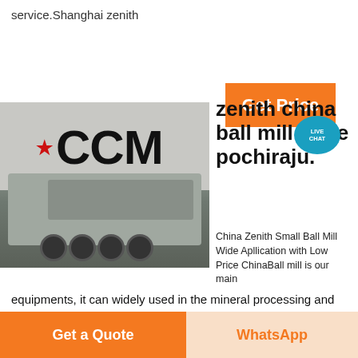service.Shanghai zenith
[Figure (other): Orange 'Get Price' button with a teal live chat bubble icon showing 'LIVE CHAT' text]
[Figure (photo): A large mobile crushing or screening machine on a flatbed truck parked in front of a building with 'CCM' lettering and a red star logo]
zenith china ball mill price pochiraju.
China Zenith Small Ball Mill Wide Apllication with Low Price ChinaBall mill is our main equipments, it can widely used in the mineral processing and
Get a Quote
WhatsApp